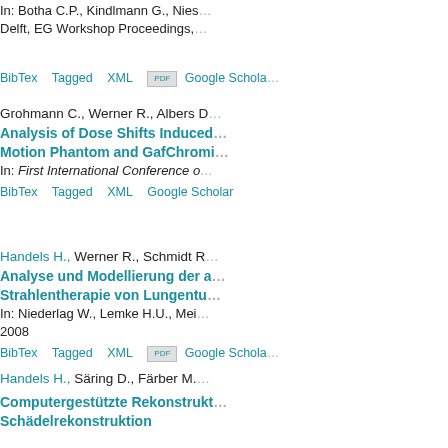In: Botha C.P., Kindlmann G., Nies... Delft, EG Workshop Proceedings,
BibTex  Tagged  XML  [PDF]  Google Scholar
Grohmann C., Werner R., Albers D...
Analysis of Dose Shifts Induced... Motion Phantom and GafChromi...
In: First International Conference o...
BibTex  Tagged  XML  Google Scholar
Handels H., Werner R., Schmidt R...
Analyse und Modellierung der a... Strahlentherapie von Lungentun...
In: Niederlag W., Lemke H.U., Mei... 2008
BibTex  Tagged  XML  [PDF]  Google Scholar
Handels H., Säring D., Färber M...
Computergestützte Rekonstrukt... Schädelrekonstruktion
In: Bauerochse A., Haßmann H., P... Landesamt für Denkmalpflege, 109...
BibTex  Tagged  XML  Google Scholar
Handels H., Werner R., Ehrhardt J...
Modeling and Analysis of Lung L...